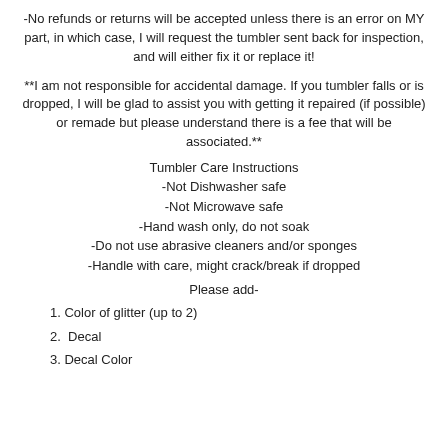-No refunds or returns will be accepted unless there is an error on MY part, in which case, I will request the tumbler sent back for inspection, and will either fix it or replace it!
**I am not responsible for accidental damage. If you tumbler falls or is dropped, I will be glad to assist you with getting it repaired (if possible) or remade but please understand there is a fee that will be associated.**
Tumbler Care Instructions
-Not Dishwasher safe
-Not Microwave safe
-Hand wash only, do not soak
-Do not use abrasive cleaners and/or sponges
-Handle with care, might crack/break if dropped
Please add-
1. Color of glitter (up to 2)
2.  Decal
3. Decal Color